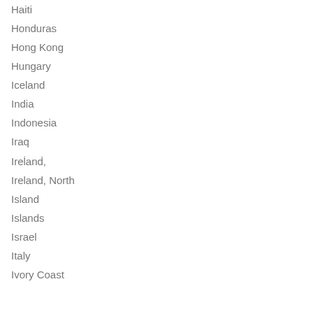Haiti
Honduras
Hong Kong
Hungary
Iceland
India
Indonesia
Iraq
Ireland,
Ireland, North
Island
Islands
Israel
Italy
Ivory Coast